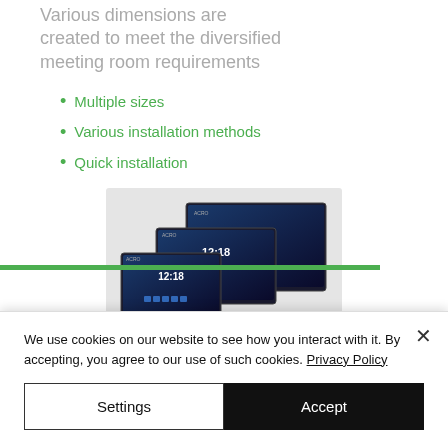Various dimensions are created to meet the diversified meeting room requirements
Multiple sizes
Various installation methods
Quick installation
[Figure (photo): Three touchscreen panel devices of different sizes displaying 12:18 time on blue background screens, arranged in descending size from back to front]
We use cookies on our website to see how you interact with it. By accepting, you agree to our use of such cookies. Privacy Policy